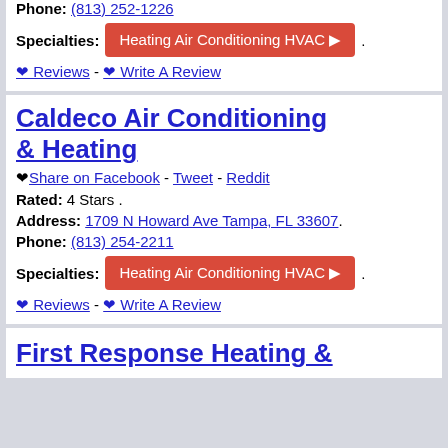Phone: (813) 252-1226
Specialties: Heating Air Conditioning HVAC ▶ .
❤ Reviews - ❤ Write A Review
Caldeco Air Conditioning & Heating
❤ Share on Facebook - Tweet - Reddit
Rated: 4 Stars .
Address: 1709 N Howard Ave Tampa, FL 33607.
Phone: (813) 254-2211
Specialties: Heating Air Conditioning HVAC ▶ .
❤ Reviews - ❤ Write A Review
First Response Heating &